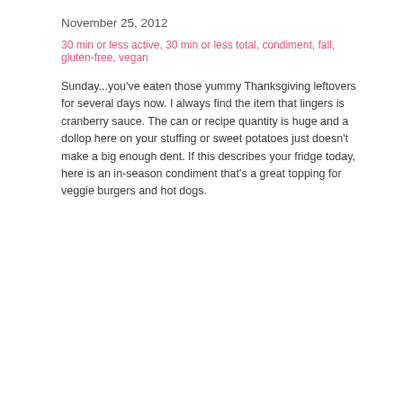November 25, 2012
30 min or less active, 30 min or less total, condiment, fall, gluten-free, vegan
Sunday...you've eaten those yummy Thanksgiving leftovers for several days now. I always find the item that lingers is cranberry sauce. The can or recipe quantity is huge and a dollop here on your stuffing or sweet potatoes just doesn't make a big enough dent. If this describes your fridge today, here is an in-season condiment that's a great topping for veggie burgers and hot dogs.